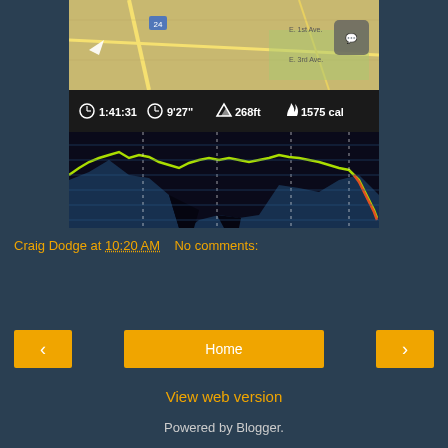[Figure (screenshot): Fitness tracking app screenshot showing a map at the top, stats bar with time 1:41:31, pace 9'27", elevation 268ft, calories 1575 cal, and an elevation/heart rate chart below with green/yellow line on dark background with blue shaded area]
Craig Dodge at 10:20 AM    No comments:
Share
‹
Home
›
View web version
Powered by Blogger.